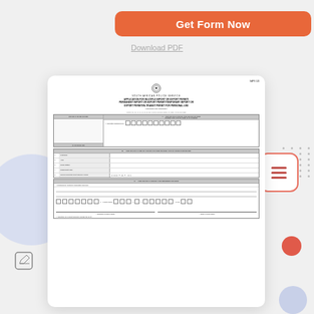Get Form Now
Download PDF
[Figure (other): South African Police Service SAPS 520 application form for multiple import or export permit / permanent import or export permit / temporary import or export permit / in-transit permit for personal use (individuals and companies). Form shows sections A, B, and C with official use fields, date received stamp area, application reference number boxes, and deciding officer section.]